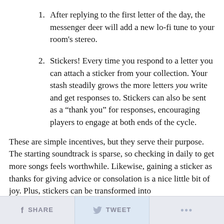After replying to the first letter of the day, the messenger deer will add a new lo-fi tune to your room's stereo.
Stickers! Every time you respond to a letter you can attach a sticker from your collection. Your stash steadily grows the more letters you write and get responses to. Stickers can also be sent as a “thank you” for responses, encouraging players to engage at both ends of the cycle.
These are simple incentives, but they serve their purpose. The starting soundtrack is sparse, so checking in daily to get more songs feels worthwhile. Likewise, gaining a sticker as thanks for giving advice or consolation is a nice little bit of joy. Plus, stickers can be transformed into
SHARE   TWEET   ...